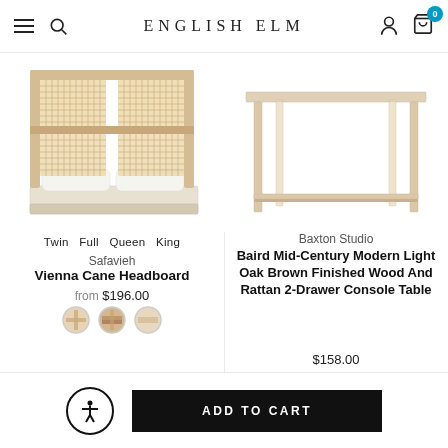ENGLISH ELM
[Figure (photo): Vienna Cane Headboard product image - bed with woven cane headboard and white bedding]
[Figure (photo): Baird Mid-Century Modern Light Oak console table product image - simple wood table with tapered legs]
Twin  Full  Queen  King
Safavieh
Vienna Cane Headboard
from $196.00
Baxton Studio
Baird Mid-Century Modern Light Oak Brown Finished Wood And Rattan 2-Drawer Console Table
$158.00
ADD TO CART